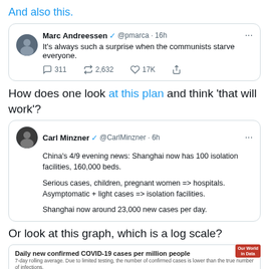And also this.
[Figure (screenshot): Tweet by Marc Andreessen (@pmarca) 16h: 'It's always such a surprise when the communists starve everyone.' Engagement: 311 comments, 2,632 retweets, 17K likes]
How does one look at this plan and think 'that will work'?
[Figure (screenshot): Tweet by Carl Minzner (@CarlMinzner) 6h: China's 4/9 evening news: Shanghai now has 100 isolation facilities, 160,000 beds. Serious cases, children, pregnant women => hospitals. Asymptomatic + light cases => isolation facilities. Shanghai now around 23,000 new cases per day.]
Or look at this graph, which is a log scale?
[Figure (continuous-plot): Daily new confirmed COVID-19 cases per million people. 7-day rolling average. Log scale chart from Our World in Data. Shows China line spiking sharply upward on the right side. Y-axis label: 10. Toggle buttons: LINEAR, LOG.]